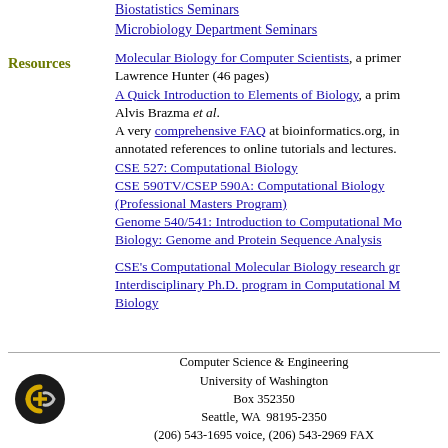Biostatistics Seminars
Microbiology Department Seminars
Resources
Molecular Biology for Computer Scientists, a primer by Lawrence Hunter (46 pages)
A Quick Introduction to Elements of Biology, a primer by Alvis Brazma et al.
A very comprehensive FAQ at bioinformatics.org, including annotated references to online tutorials and lectures.
CSE 527: Computational Biology
CSE 590TV/CSEP 590A: Computational Biology (Professional Masters Program)
Genome 540/541: Introduction to Computational Molecular Biology: Genome and Protein Sequence Analysis
CSE's Computational Molecular Biology research group
Interdisciplinary Ph.D. program in Computational Molecular Biology
Computer Science & Engineering
University of Washington
Box 352350
Seattle, WA  98195-2350
(206) 543-1695 voice, (206) 543-2969 FAX